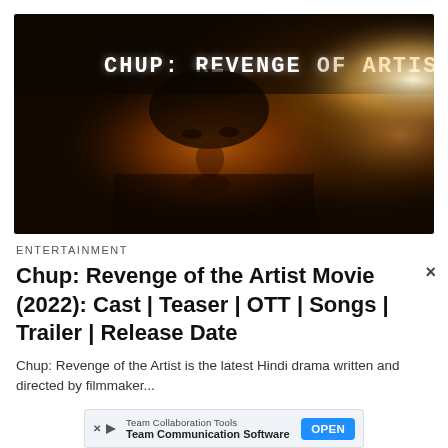[Figure (photo): Movie poster/teaser image for Chup: Revenge of Artist showing a dark dramatic image of a man's intense face with the title text 'CHUP: REVENGE OF ARTIST' in white stylized letters at the top on a dark background with warm orange/golden lighting]
ENTERTAINMENT
Chup: Revenge of the Artist Movie (2022): Cast | Teaser | OTT | Songs | Trailer | Release Date
Chup: Revenge of the Artist is the latest Hindi drama written and directed by filmmaker...